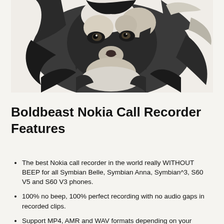[Figure (illustration): Black and white high-contrast illustration of a lion's face, rendered in a bold graphic style with dark shadows and white highlights.]
Boldbeast Nokia Call Recorder Features
The best Nokia call recorder in the world really WITHOUT BEEP for all Symbian Belle, Symbian Anna, Symbian^3, S60 V5 and S60 V3 phones.
100% no beep, 100% perfect recording with no audio gaps in recorded clips.
Support MP4, AMR and WAV formats depending on your